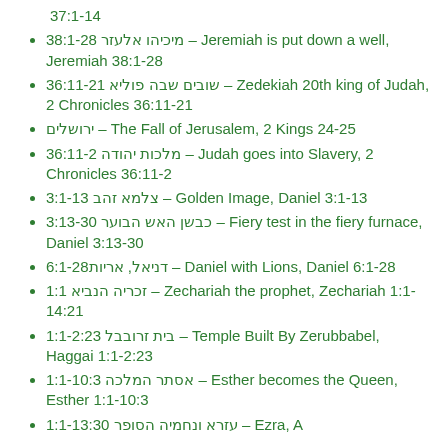37:1-14
🀫🀫🀫🀫🀫🀫🀫🀫🀫 🀫🀫🀫🀫 38:1-28 – Jeremiah is put down a well, Jeremiah 38:1-28
🀫🀫🀫🀫🀫🀫🀫🀫🀫🀫🀫🀫🀫🀫🀫🀫🀫 36:11-21 – Zedekiah 20th king of Judah, 2 Chronicles 36:11-21
🀫🀫🀫🀫🀫🀫 – The Fall of Jerusalem, 2 Kings 24-25
🀫🀫🀫🀫🀫🀫🀫🀫🀫🀫🀫🀫 36:11-2 – Judah goes into Slavery, 2 Chronicles 36:11-2
🀫🀫🀫🀫🀫🀫🀫🀫 3:1-13 – Golden Image, Daniel 3:1-13
🀫🀫🀫🀫🀫🀫🀫🀫🀫🀫🀫🀫🀫🀫🀫 3:13-30 – Fiery test in the fiery furnace, Daniel 3:13-30
🀫🀫🀫🀫🀫🀫🀫, 🀫🀫🀫🀫🀫6:1-28 – Daniel with Lions, Daniel 6:1-28
🀫🀫🀫🀫🀫🀫🀫🀫🀫🀫🀫🀫🀫 1:1 – Zechariah the prophet, Zechariah 1:1-14:21
🀫🀫🀫🀫🀫🀫🀫🀫🀫🀫🀫 1:1-2:23 – Temple Built By Zerubbabel, Haggai 1:1-2:23
🀫🀫🀫🀫🀫🀫🀫🀫🀫🀫🀫🀫 1:1-10:3 – Esther becomes the Queen, Esther 1:1-10:3
🀫🀫🀫🀫🀫🀫🀫🀫🀫🀫🀫🀫🀫🀫🀫🀫🀫🀫 🀫🀫🀫🀫🀫🀫🀫🀫🀫🀫 1:1-13:30 – Ezra, A